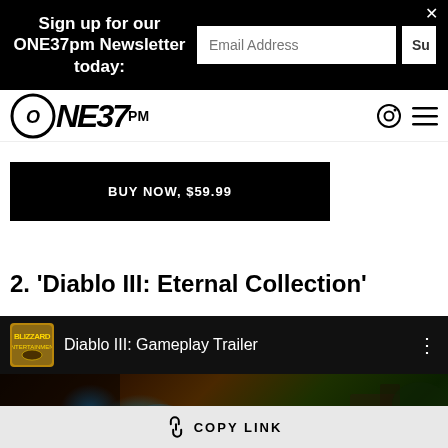Sign up for our ONE37pm Newsletter today:
[Figure (logo): ONE37PM website logo with circular emblem]
BUY NOW, $59.99
2. 'Diablo III: Eternal Collection'
[Figure (screenshot): Diablo III: Gameplay Trailer video embed with Blizzard logo, showing dark fantasy game scene]
COPY LINK